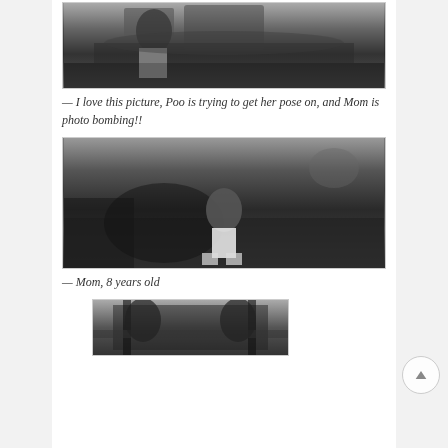[Figure (photo): Black and white vintage photograph of a person (Poo) posing in front of a house with bushes, while another person (Mom) appears photo bombing in the background]
— I love this picture, Poo is trying to get her pose on, and Mom is photo bombing!!
[Figure (photo): Black and white vintage photograph of a child (Mom at 8 years old) sitting on grass in a yard]
— Mom, 8 years old
[Figure (photo): Black and white vintage photograph partially visible at the bottom of the page, showing a building entrance with foliage]